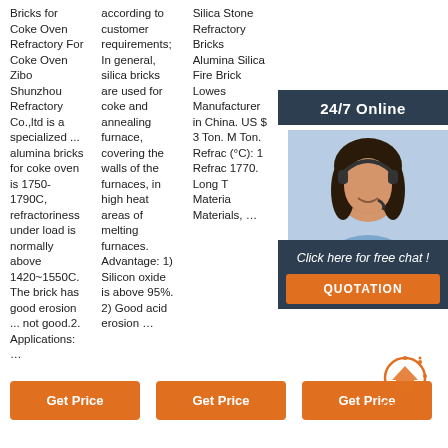Bricks for Coke Oven Refractory For Coke Oven Zibo Shunzhou Refractory Co.,ltd is a specialized ... alumina bricks for coke oven is 1750-1790C, refractoriness under load is normally above 1420~1550C. The brick has good erosion ... not good.2. Applications: ...
according to customer requirements; In general, silica bricks are used for coke and annealing furnace, covering the walls of the furnaces, in high heat areas of melting furnaces. Advantage: 1) Silicon oxide is above 95%. 2) Good acid erosion ...
Silica Stone Refractory Bricks Alumina Silica Fire Brick Lowes Manufacturer in China. US $ 3 Ton. M Ton. Refrac (°C): 1 Refrac 1770. Long T Materia Materials, ...
[Figure (photo): Woman with headset smiling, customer service representative, partially overlaid by dark overlay boxes]
24/7 Online
Click here for free chat !
QUOTATION
Get Price
Get Price
Get Price